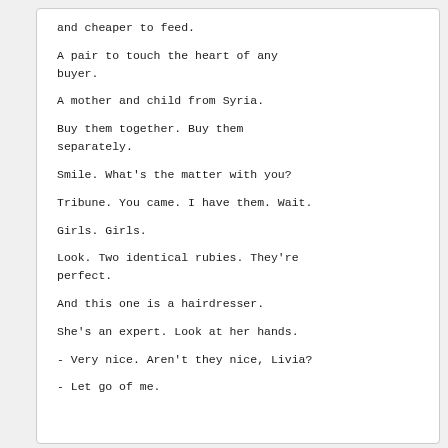and cheaper to feed.
A pair to touch the heart of any buyer.
A mother and child from Syria.
Buy them together. Buy them separately.
Smile. What's the matter with you?
Tribune. You came. I have them. Wait.
Girls. Girls.
Look. Two identical rubies. They're perfect.
And this one is a hairdresser.
She's an expert. Look at her hands.
- Very nice. Aren't they nice, Livia?
- Let go of me.